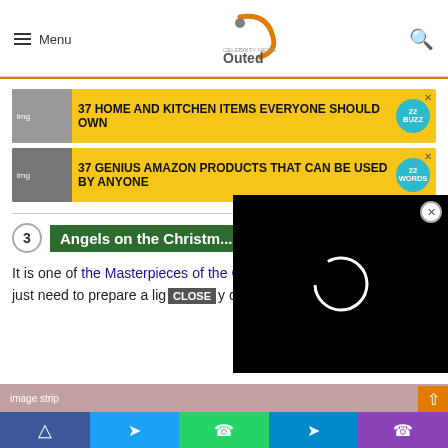Menu | Outed logo | Search
[Figure (screenshot): Advertisement banner: 37 HOME AND KITCHEN ITEMS EVERYONE SHOULD OWN with yellow background and BuzzFeed-style badge showing 22]
[Figure (screenshot): Advertisement banner: 37 GENIUS AMAZON PRODUCTS THAT CAN BE USED BY ANYONE with yellow background and badge showing 22]
3  Angels on the Christm...
It is one of the Masterpieces of the Christmas cake decorations. You just need to prepare a lig... ca...
[Figure (screenshot): Video player overlay with black background and loading spinner circle, with X close button]
Facebook | Twitter | WhatsApp | Telegram | Phone social share buttons